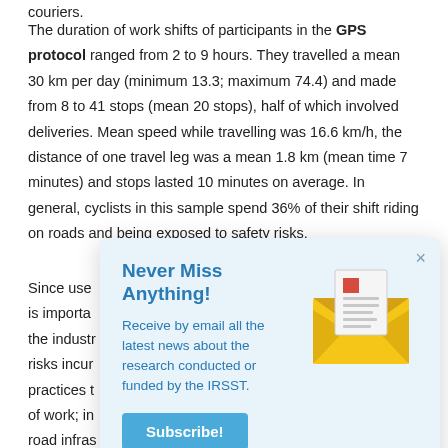couriers.
The duration of work shifts of participants in the GPS protocol ranged from 2 to 9 hours. They travelled a mean 30 km per day (minimum 13.3; maximum 74.4) and made from 8 to 41 stops (mean 20 stops), half of which involved deliveries. Mean speed while travelling was 16.6 km/h, the distance of one travel leg was a mean 1.8 km (mean time 7 minutes) and stops lasted 10 minutes on average. In general, cyclists in this sample spend 36% of their shift riding on roads and being exposed to safety risks.
Since use... is importa... the industr... risks incur... practices t... of work; in... road infras... bike paths... sound con...
[Figure (infographic): Newsletter subscription modal popup with title 'Never Miss Anything!', body text 'Receive by email all the latest news about the research conducted or funded by the IRSST.', a Subscribe! button, an envelope illustration with a document inside, and a close (×) button.]